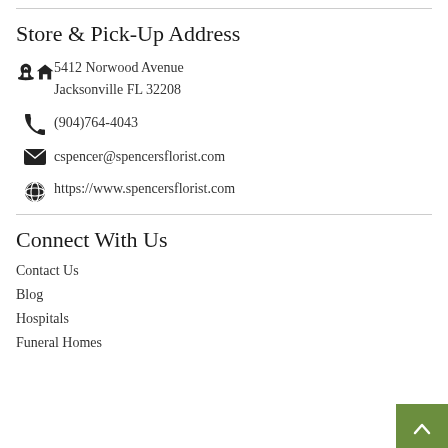Store & Pick-Up Address
5412 Norwood Avenue
Jacksonville FL 32208
(904)764-4043
cspencer@spencersflorist.com
https://www.spencersflorist.com
Connect With Us
Contact Us
Blog
Hospitals
Funeral Homes